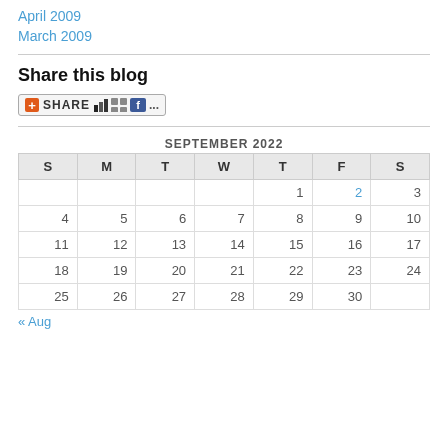April 2009
March 2009
Share this blog
[Figure (other): Share button with social media icons including a red plus button, bar chart icon, grid icon, and Facebook icon with text SHARE and ellipsis]
| S | M | T | W | T | F | S |
| --- | --- | --- | --- | --- | --- | --- |
|  |  |  |  | 1 | 2 | 3 |
| 4 | 5 | 6 | 7 | 8 | 9 | 10 |
| 11 | 12 | 13 | 14 | 15 | 16 | 17 |
| 18 | 19 | 20 | 21 | 22 | 23 | 24 |
| 25 | 26 | 27 | 28 | 29 | 30 |  |
« Aug